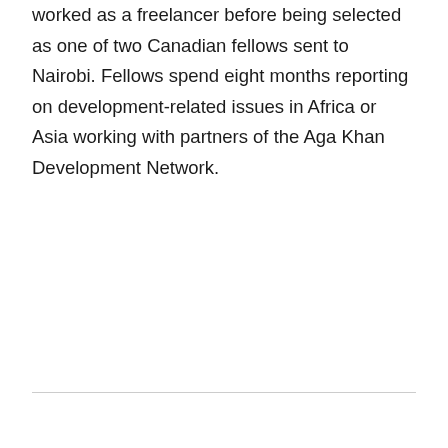worked as a freelancer before being selected as one of two Canadian fellows sent to Nairobi. Fellows spend eight months reporting on development-related issues in Africa or Asia working with partners of the Aga Khan Development Network.